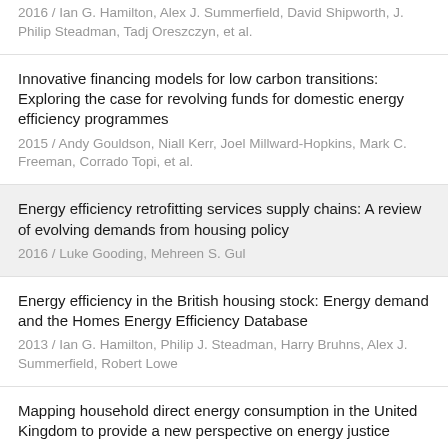2016 / Ian G. Hamilton, Alex J. Summerfield, David Shipworth, J. Philip Steadman, Tadj Oreszczyn, et al.
Innovative financing models for low carbon transitions: Exploring the case for revolving funds for domestic energy efficiency programmes
2015 / Andy Gouldson, Niall Kerr, Joel Millward-Hopkins, Mark C. Freeman, Corrado Topi, et al.
Energy efficiency retrofitting services supply chains: A review of evolving demands from housing policy
2016 / Luke Gooding, Mehreen S. Gul
Energy efficiency in the British housing stock: Energy demand and the Homes Energy Efficiency Database
2013 / Ian G. Hamilton, Philip J. Steadman, Harry Bruhns, Alex J. Summerfield, Robert Lowe
Mapping household direct energy consumption in the United Kingdom to provide a new perspective on energy justice
2016 / T. J. Chatterton, J. Anable, J. Barnes, G. Yeboah